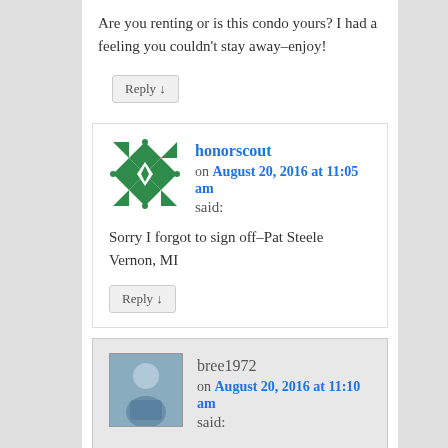Are you renting or is this condo yours? I had a feeling you couldn't stay away–enjoy!
Reply ↓
honorscout on August 20, 2016 at 11:05 am said:
Sorry I forgot to sign off–Pat Steele Vernon, MI
Reply ↓
bree1972 on August 20, 2016 at 11:10 am said: